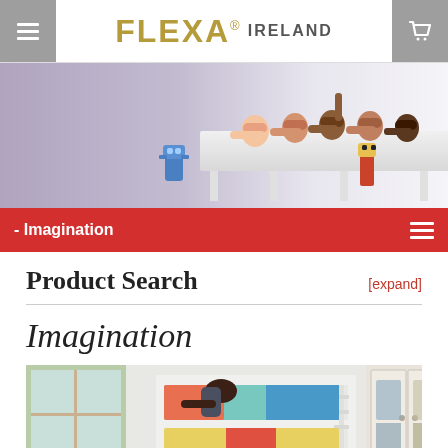FLEXA® IRELAND
[Figure (photo): Hero banner photo of children lying on a white shelf/furniture piece smiling at the camera, with colorful toy robots, against a purple/grey background]
- Imagination
Product Search
[expand]
Imagination
[Figure (photo): Photo of a child playing on a white bunk bed in a light-coloured room with a wardrobe, colourful bedding, and large window]